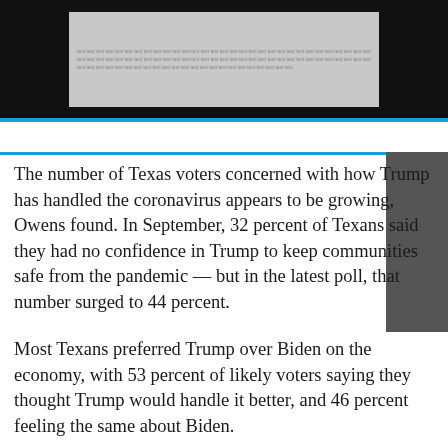[Figure (photo): Blurred/greyed out image of printed text on a newspaper or document, shown against a black background bar]
The number of Texas voters concerned with how Trump has handled the coronavirus appears to be growing, Owens found. In September, 32 percent of Texans said they had no confidence in Trump to keep communities safe from the pandemic — but in the latest poll, that number surged to 44 percent.
Most Texans preferred Trump over Biden on the economy, with 53 percent of likely voters saying they thought Trump would handle it better, and 46 percent feeling the same about Biden.
State polling should be taken with a grain of salt